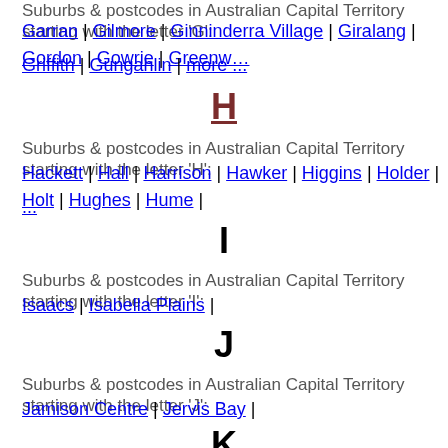Suburbs & postcodes in Australian Capital Territory starting with the letter 'G':
Garran | Gilmore | Ginninderra Village | Giralang | Gordon | Gowrie | Greenway | Griffith | Gungahlin | more ...
H
Suburbs & postcodes in Australian Capital Territory starting with the letter 'H':
Hackett | Hall | Harrison | Hawker | Higgins | Holder | Holt | Hughes | Hume | ...
I
Suburbs & postcodes in Australian Capital Territory starting with the letter 'I':
Isaacs | Isabella Plains |
J
Suburbs & postcodes in Australian Capital Territory starting with the letter 'J':
Jamison Centre | Jervis Bay |
K